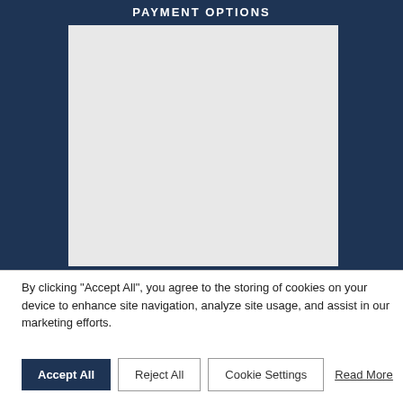PAYMENT OPTIONS
[Figure (photo): A large light gray rectangular placeholder image on a dark navy blue background.]
By clicking "Accept All", you agree to the storing of cookies on your device to enhance site navigation, analyze site usage, and assist in our marketing efforts.
Accept All | Reject All | Cookie Settings | Read More